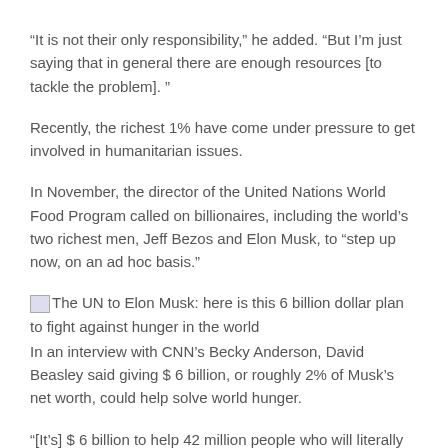“It is not their only responsibility,” he added. “But I’m just saying that in general there are enough resources [to tackle the problem]. ”
Recently, the richest 1% have come under pressure to get involved in humanitarian issues.
In November, the director of the United Nations World Food Program called on billionaires, including the world’s two richest men, Jeff Bezos and Elon Musk, to “step up now, on an ad hoc basis.”
[Figure (photo): Image placeholder: The UN to Elon Musk: here is this 6 billion dollar plan to fight against hunger in the world]
In an interview with CNN’s Becky Anderson, David Beasley said giving $ 6 billion, or roughly 2% of Musk’s net worth, could help solve world hunger.
“[It’s] $ 6 billion to help 42 million people who will literally die if we don’t reach them. It’s not complicated, …he added.